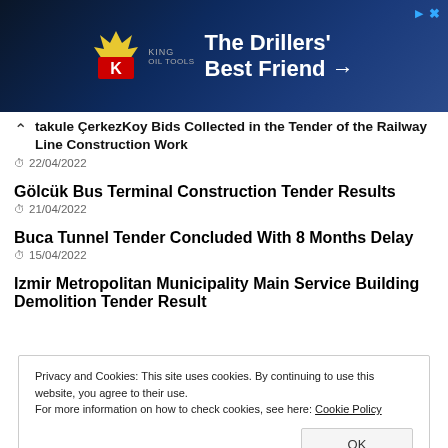[Figure (photo): Advertisement banner for King Oil Tools - 'The Drillers' Best Friend →' with dark blue background and company logo]
takule ÇerkezKoy Bids Collected in the Tender of the Railway Line Construction Work
22/04/2022
Gölcük Bus Terminal Construction Tender Results
21/04/2022
Buca Tunnel Tender Concluded With 8 Months Delay
15/04/2022
Izmir Metropolitan Municipality Main Service Building Demolition Tender Result
Privacy and Cookies: This site uses cookies. By continuing to use this website, you agree to their use.
For more information on how to check cookies, see here: Cookie Policy